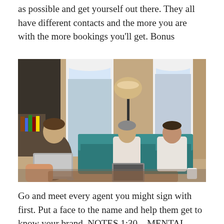as possible and get yourself out there. They all have different contacts and the more you are with the more bookings you'll get. Bonus
[Figure (photo): Three young men working in a loft office with exposed brick walls and tall windows. One man sits on the left with a laptop on his lap, two others sit on a teal sofa with a laptop, and a floor lamp stands between them.]
Go and meet every agent you might sign with first. Put a face to the name and help them get to know your brand. NOTES 1:30 – MENTAL HEALTH CONSULTANT WHAT IS